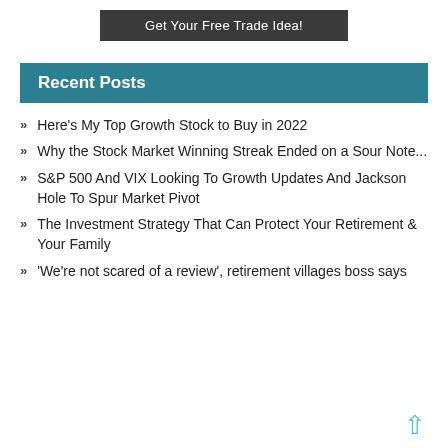[Figure (other): Dark banner button with text 'Get Your Free Trade Idea!']
Recent Posts
Here's My Top Growth Stock to Buy in 2022
Why the Stock Market Winning Streak Ended on a Sour Note...
S&P 500 And VIX Looking To Growth Updates And Jackson Hole To Spur Market Pivot
The Investment Strategy That Can Protect Your Retirement & Your Family
'We're not scared of a review', retirement villages boss says